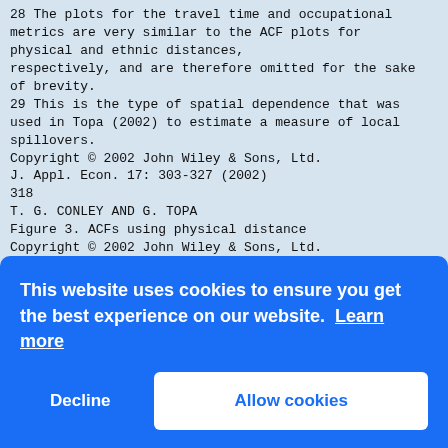28 The plots for the travel time and occupational metrics are very similar to the ACF plots for physical and ethnic distances, respectively, and are therefore omitted for the sake of brevity.
29 This is the type of spatial dependence that was used in Topa (2002) to estimate a measure of local spillovers.
Copyright © 2002 John Wiley & Sons, Ltd.
J. Appl. Econ. 17: 303-327 (2002)
318
T. G. CONLEY AND G. TOPA
Figure 3. ACFs using physical distance
Copyright © 2002 John Wiley & Sons, Ltd.
J. Appl. Econ. 17: 303-327 (2002)
SOCIO-ECONOMIC DISTANCE AND UNEMPLOYMENT
319
Figure 4. ACFs using ethnic distance
The degree of spatial dependence still present in the residuals of unemployment is weaker for the travel time metric, and disappears altogether for the regression using ethnic distance. The correlation coefficients are no longer statistically significant in these regressions. These results are consistent with estimates of local spillovers...
Copyright © 2002 John Wiley & Sons, Ltd.
J. Appl. Econ. 17: 303-327 (2002)
320
T. G. CONLEY AND G. TOPA
one reflect the sorting decisions of individual agents, there is very little spatial clustering left. This is